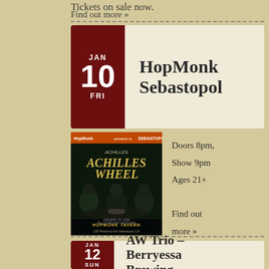Tickets on sale now.
Find out more »
HopMonk Sebastopol
[Figure (photo): Event poster for Achilles Wheel at HopMonk Tavern Sebastopol, January 10, 2020. Dark green background with band members seated around a table.]
Doors 8pm, Show 9pm Ages 21+ Find out more »
AW Trio – Berryessa Brewing